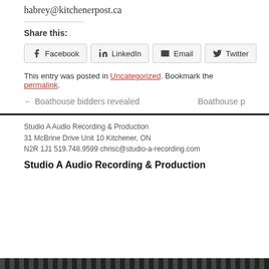habrey@kitchenerpost.ca
Share this:
Facebook LinkedIn Email Twitter
This entry was posted in Uncategorized. Bookmark the permalink.
← Boathouse bidders revealed   Boathouse p
Studio A Audio Recording & Production
31 McBrine Drive Unit 10 Kitchener, ON
N2R 1J1 519.748.9599 chrisc@studio-a-recording.com
Studio A Audio Recording & Production